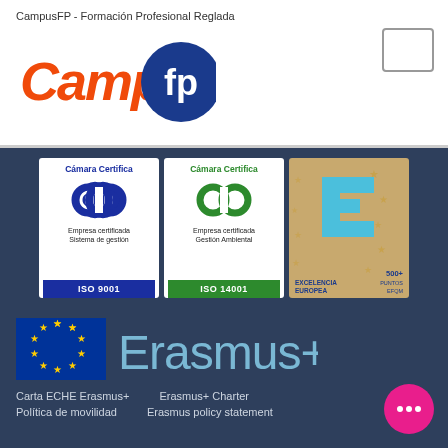CampusFP - Formación Profesional Reglada
[Figure (logo): CampusFP logo with orange handwritten-style 'Campus' text and blue circular 'fp' badge]
[Figure (logo): ISO 9001 Cámara Certifica badge - Empresa certificada Sistema de gestión]
[Figure (logo): ISO 14001 Cámara Certifica badge - Empresa certificada Gestión Ambiental]
[Figure (logo): EFQM Excelencia Europea 500+ puntos badge on gold background with blue E and stars]
[Figure (logo): Erasmus+ logo with EU flag (blue background, yellow stars circle) and 'Erasmus+' text in light blue]
Carta ECHE Erasmus+     Erasmus+ Charter
Política de movilidad     Erasmus policy statement